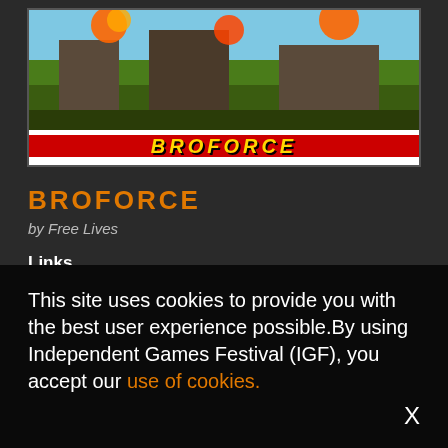[Figure (screenshot): Screenshot of the video game Broforce showing a pixelated side-scrolling action scene with a red and white banner at the bottom displaying the BROFORCE logo in yellow stylized text]
BROFORCE
by Free Lives
Links
Website
Video
This site uses cookies to provide you with the best user experience possible.By using Independent Games Festival (IGF), you accept our use of cookies.